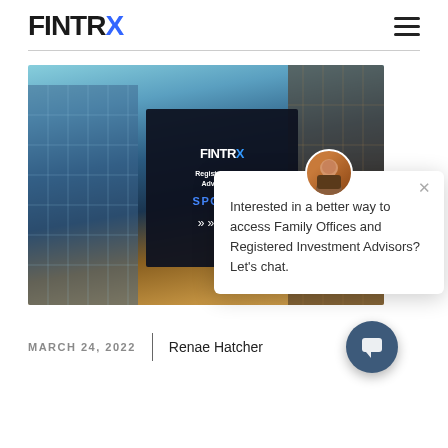FINTRX
[Figure (screenshot): FINTRX article hero image showing city skyscrapers with a dark overlay card displaying FINTRX logo, 'Registered Investment Advisor (R...' subtitle, 'SPOTLIGHT' text in blue, and arrow chevrons. A chat popup overlays the right side with avatar, close button, and text: 'Interested in a better way to access Family Offices and Registered Investment Advisors? Let's chat.']
MARCH 24, 2022 | Renae Hatcher